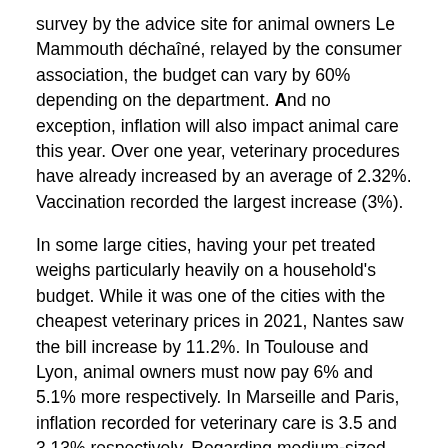survey by the advice site for animal owners Le Mammouth déchaîné, relayed by the consumer association, the budget can vary by 60% depending on the department. And no exception, inflation will also impact animal care this year. Over one year, veterinary procedures have already increased by an average of 2.32%. Vaccination recorded the largest increase (3%).
In some large cities, having your pet treated weighs particularly heavily on a household's budget. While it was one of the cities with the cheapest veterinary prices in 2021, Nantes saw the bill increase by 11.2%. In Toulouse and Lyon, animal owners must now pay 6% and 5.1% more respectively. In Marseille and Paris, inflation recorded for veterinary care is 3.5 and 3.13% respectively. Regarding medium-sized cities, it is in Versailles that the addition has soared the most: +24%. Ahead of Lorient (+17.7%), Bourges (+15.8%) and Nanterre (+14.6%).